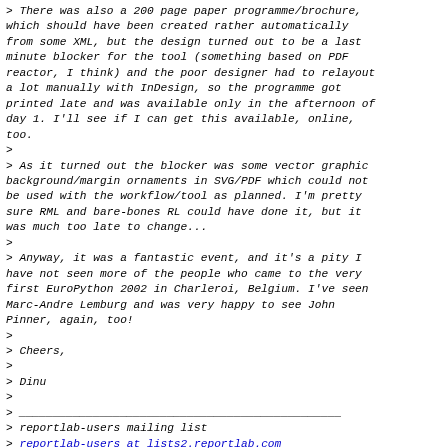> There was also a 200 page paper programme/brochure, which should have been created rather automatically from some XML, but the design turned out to be a last minute blocker for the tool (something based on PDF reactor, I think) and the poor designer had to relayout a lot manually with InDesign, so the programme got printed late and was available only in the afternoon of day 1. I'll see if I can get this available, online, too.
>
> As it turned out the blocker was some vector graphic background/margin ornaments in SVG/PDF which could not be used with the workflow/tool as planned. I'm pretty sure RML and bare-bones RL could have done it, but it was much too late to change...
>
> Anyway, it was a fantastic event, and it's a pity I have not seen more of the people who came to the very first EuroPython 2002 in Charleroi, Belgium. I've seen Marc-Andre Lemburg and was very happy to see John Pinner, again, too!
>
> Cheers,
>
> Dinu
>
>
> reportlab-users mailing list
> reportlab-users at lists2.reportlab.com
> http://two.pairlist.net/mailman/listinfo/reportlab-